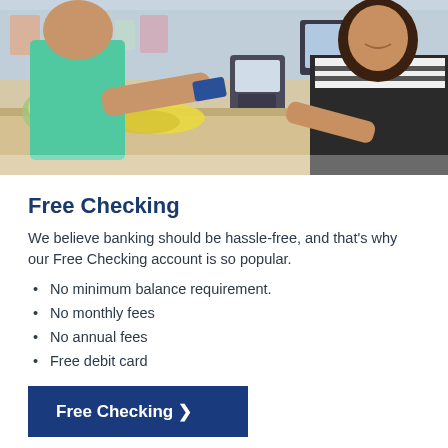[Figure (photo): A customer handing a payment card to a smiling female cashier at a grocery store checkout counter. The counter has produce including bananas and oranges. A POS terminal and computer monitor are visible in the background.]
Free Checking
We believe banking should be hassle-free, and that's why our Free Checking account is so popular.
No minimum balance requirement.
No monthly fees
No annual fees
Free debit card
Free Checking ❯